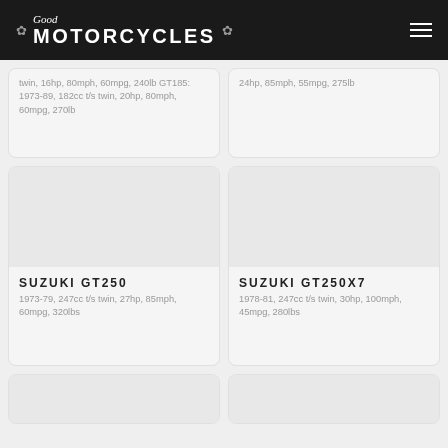Good Motorcycles
twin, 16hp, 80mph, 60mpg, 240lb GT185: 1973-89, 182cc t/s twin, 20hp, 80mph, 60mpg, 270lb
24hp, 85mph, 55mpg, 275lb
SUZUKI GT250
1973-79, 247cc t/s twin, 27hp, 85mph, 60mpg, 320lbs
SUZUKI GT250X7
1978-81, 247cc t/s twin, 30hp, 100mph, 45mpg, 280lbs